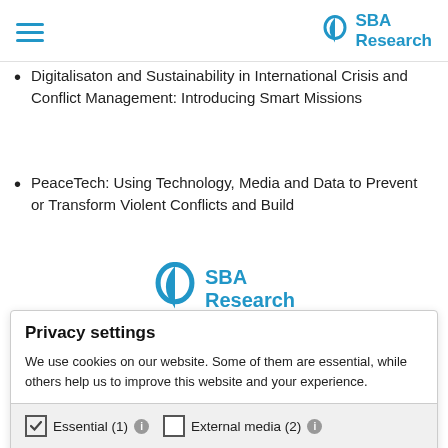SBA Research
Digitalisaton and Sustainability in International Crisis and Conflict Management: Introducing Smart Missions
PeaceTech: Using Technology, Media and Data to Prevent or Transform Violent Conflicts and Build
[Figure (logo): SBA Research logo centered]
Privacy settings
We use cookies on our website. Some of them are essential, while others help us to improve this website and your experience.
Essential (1)  External media (2)
Save & close
Privacy policy   Imprint